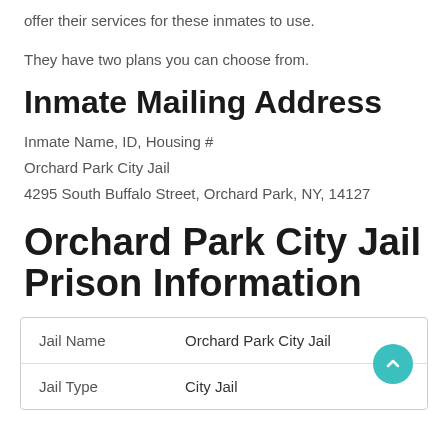offer their services for these inmates to use.
They have two plans you can choose from.
Inmate Mailing Address
Inmate Name, ID, Housing #
Orchard Park City Jail
4295 South Buffalo Street, Orchard Park, NY, 14127
Orchard Park City Jail Prison Information
| Jail Name | Orchard Park City Jail |
| Jail Type | City Jail |